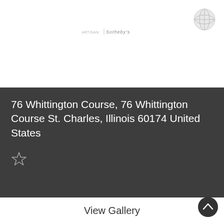[Figure (logo): Sotheby's International Realty logo text with globe icon]
76 Whittington Course, 76 Whittington Course St. Charles, Illinois 60174 United States
[Figure (illustration): Star/favorite icon outline]
View Gallery
[Figure (illustration): Back to top chevron up circle button]